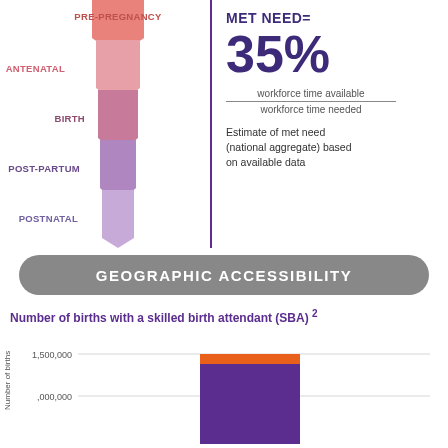[Figure (infographic): Vertical arrow strip showing maternal care stages: PRE-PREGNANCY (salmon/red), ANTENATAL (pink), BIRTH (medium pink/mauve), POST-PARTUM (medium purple-pink), POSTNATAL (light purple)]
MET NEED=
35%
workforce time available / workforce time needed
Estimate of met need (national aggregate) based on available data
GEOGRAPHIC ACCESSIBILITY
Number of births with a skilled birth attendant (SBA) 2
[Figure (bar-chart): Number of births with a skilled birth attendant (SBA)]